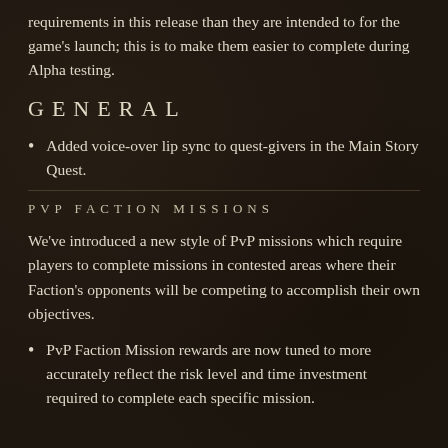requirements in this release than they are intended to for the game's launch; this is to make them easier to complete during Alpha testing.
GENERAL
Added voice-over lip sync to quest-givers in the Main Story Quest.
PVP FACTION MISSIONS
We've introduced a new style of PvP missions which require players to complete missions in contested areas where their Faction's opponents will be competing to accomplish their own objectives.
PvP Faction Mission rewards are now tuned to more accurately reflect the risk level and time investment required to complete each specific mission.